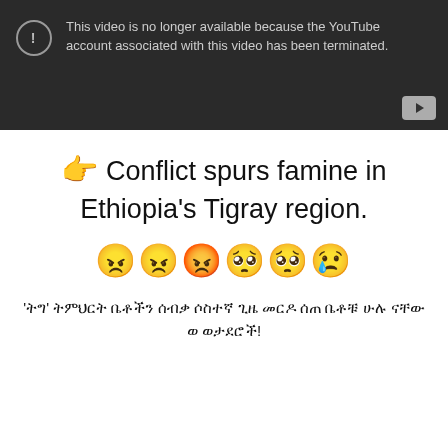[Figure (screenshot): YouTube video unavailable embed showing dark background with exclamation icon and message: 'This video is no longer available because the YouTube account associated with this video has been terminated.' with a YouTube play button in the bottom right corner.]
👉 Conflict spurs famine in Ethiopia's Tigray region.
😠😠😡🥺🥺😢
'ትግራይ' ትምህርት ቤቶችን ሰብቃ ሶስተኛ ጊዜ መርዶ ሰጠ ቤቶቹ ሁሉ ናቸው ወታደራዊ ሃይሎቻቸውን!